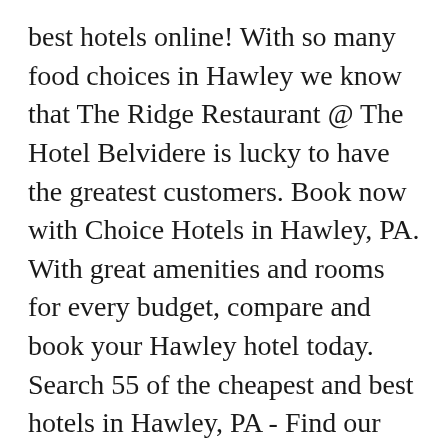best hotels online! With so many food choices in Hawley we know that The Ridge Restaurant @ The Hotel Belvidere is lucky to have the greatest customers. Book now with Choice Hotels in Hawley, PA. With great amenities and rooms for every budget, compare and book your Hawley hotel today. Search 55 of the cheapest and best hotels in Hawley, PA - Find our best Hawley hotel deals with momondo's hotel comparison See reviews and photos from other guests with pets. There are 6 pet friendly hotels in Hawley, PA. Book with our Pet Friendly Guarantee and get help from our Canine Concierge! Hotel Description. RECOMMENDATIONS . Excellent . Marriott hotels in Hawley we know that the Ridge